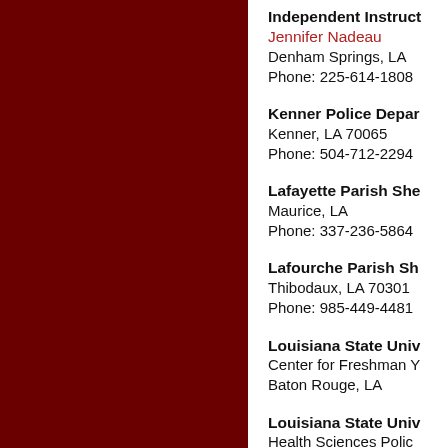[Figure (other): Dark maroon/burgundy vertical panel on the left side of the page]
Independent Instruct
Jennifer Nadeau
Denham Springs, LA
Phone: 225-614-1808
Kenner Police Depar
Kenner, LA 70065
Phone: 504-712-2294
Lafayette Parish She
Maurice, LA
Phone: 337-236-5864
Lafourche Parish Sh
Thibodaux, LA 70301
Phone: 985-449-4481
Louisiana State Univ
Center for Freshman Y
Baton Rouge, LA
Louisiana State Univ
Health Sciences Polic
New Orleans, LA
Phone: 504-568-8270